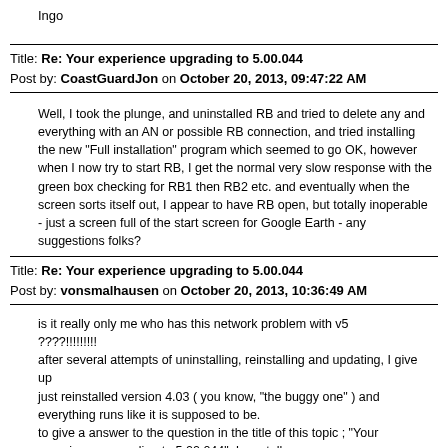Ingo
Title: Re: Your experience upgrading to 5.00.044
Post by: CoastGuardJon on October 20, 2013, 09:47:22 AM
Well, I took the plunge, and uninstalled RB and tried to delete any and everything with an AN or possible RB connection, and tried installing the new "Full installation" program which seemed to go OK, however when I now try to start RB, I get the normal very slow response with the green box checking for RB1 then RB2 etc. and eventually when the screen sorts itself out, I appear to have RB open, but totally inoperable - just a screen full of the start screen for Google Earth - any suggestions folks?
Title: Re: Your experience upgrading to 5.00.044
Post by: vonsmalhausen on October 20, 2013, 10:36:49 AM
is it really only me who has this network problem with v5 ????!!!!!!!!! after several attempts of uninstalling, reinstalling and updating, I give up just reinstalled version 4.03 ( you know, "the buggy one" ) and everything runs like it is supposed to be. to give a answer to the question in the title of this topic ; "Your experience upgrading to 5.00.044", I can tell you : EXTREMELY bad and VERRY, VERRY, VERRY